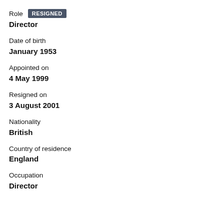Role RESIGNED
Director
Date of birth
January 1953
Appointed on
4 May 1999
Resigned on
3 August 2001
Nationality
British
Country of residence
England
Occupation
Director